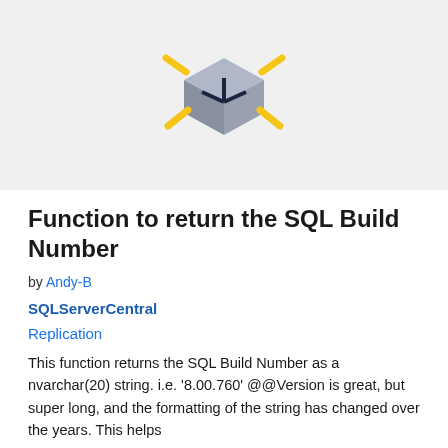[Figure (logo): SQLServerCentral logo — a 3D cube in gray with yellow arrow accents pointing outward on a light gray background]
Function to return the SQL Build Number
by Andy-B
SQLServerCentral
Replication
This function returns the SQL Build Number as a nvarchar(20) string. i.e. '8.00.760' @@Version is great, but super long, and the formatting of the string has changed over the years. This helps